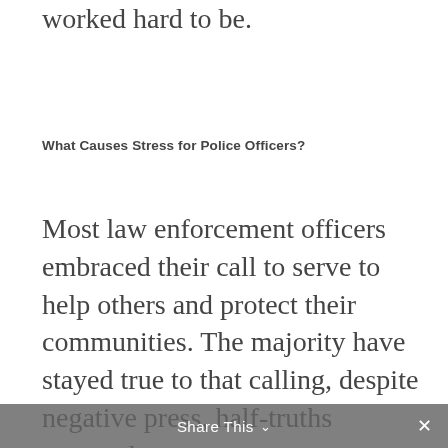worked hard to be.
What Causes Stress for Police Officers?
Most law enforcement officers embraced their call to serve to help others and protect their communities. The majority have stayed true to that calling, despite negative press, half-truths reported in the media, and sacrific...